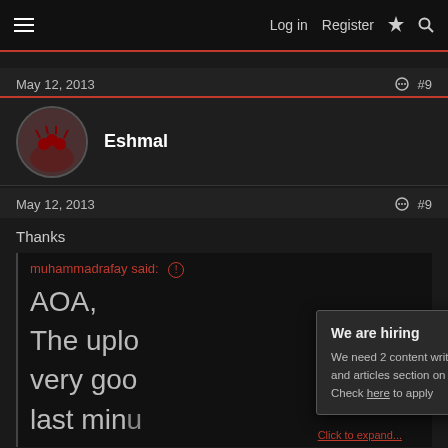Log in   Register
May 12, 2013   #9
Eshmal
May 12, 2013   #9
Thanks
muhammadrafay said:
AOA,
The uplo
very goo
last minu
We are hiring
We need 2 content writers for our news and articles section on our homepage.
Check here to apply